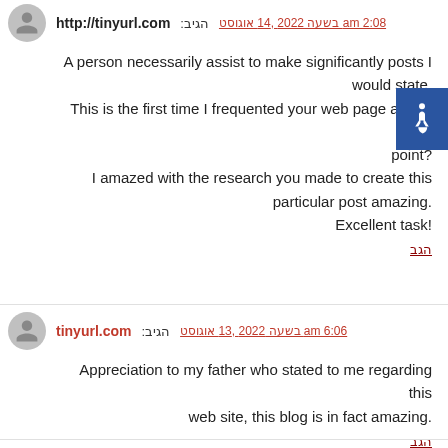הגיב: http://tinyurl.com — אוגוסט 14, 2022 בשעה 2:08 am
A person necessarily assist to make significantly posts I would state. This is the first time I frequented your web page and to this point? I amazed with the research you made to create this particular post amazing. Excellent task!
הגב
הגיב: tinyurl.com — אוגוסט 13, 2022 בשעה 6:06 am
Appreciation to my father who stated to me regarding this web site, this blog is in fact amazing.
הגב